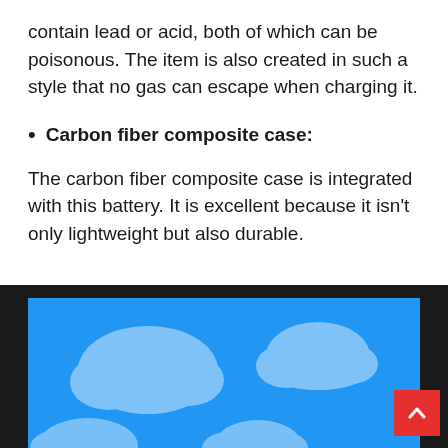contain lead or acid, both of which can be poisonous. The item is also created in such a style that no gas can escape when charging it.
Carbon fiber composite case:
The carbon fiber composite case is integrated with this battery. It is excellent because it isn't only lightweight but also durable.
[Figure (illustration): Blue sky with fluffy clouds illustration, with a red scroll-to-top button in the bottom right corner. Shown as a website footer/banner area with dark background.]